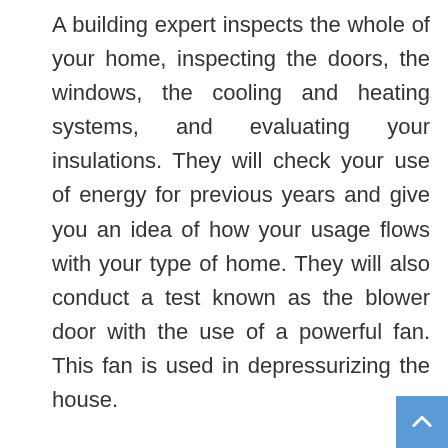A building expert inspects the whole of your home, inspecting the doors, the windows, the cooling and heating systems, and evaluating your insulations. They will check your use of energy for previous years and give you an idea of how your usage flows with your type of home. They will also conduct a test known as the blower door with the use of a powerful fan. This fan is used in depressurizing the house.

The test called the blower door test measures how much movement of air the house allows, and gives a number which allows you to compare your home to other houses considered to be sealed properly. When this is done, there would be an improvement because your home would be a lot